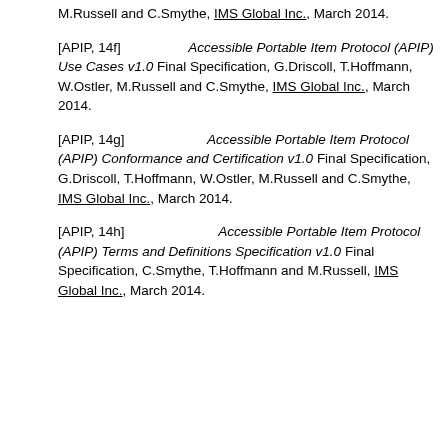M.Russell and C.Smythe, IMS Global Inc., March 2014.
[APIP, 14f] Accessible Portable Item Protocol (APIP) Use Cases v1.0 Final Specification, G.Driscoll, T.Hoffmann, W.Ostler, M.Russell and C.Smythe, IMS Global Inc., March 2014.
[APIP, 14g] Accessible Portable Item Protocol (APIP) Conformance and Certification v1.0 Final Specification, G.Driscoll, T.Hoffmann, W.Ostler, M.Russell and C.Smythe, IMS Global Inc., March 2014.
[APIP, 14h] Accessible Portable Item Protocol (APIP) Terms and Definitions Specification v1.0 Final Specification, C.Smythe, T.Hoffmann and M.Russell, IMS Global Inc., March 2014.